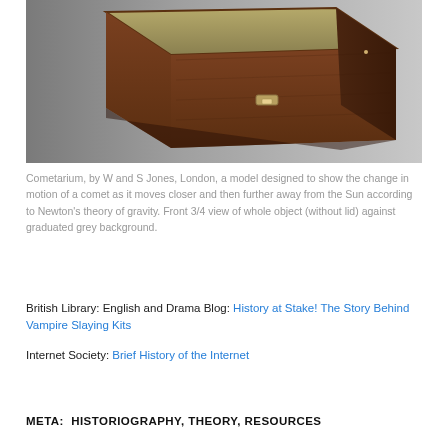[Figure (photo): Cometarium in a wooden box, front 3/4 view without lid, against a graduated grey background. Made by W and S Jones, London.]
Cometarium, by W and S Jones, London, a model designed to show the change in motion of a comet as it moves closer and then further away from the Sun according to Newton's theory of gravity. Front 3/4 view of whole object (without lid) against graduated grey background.
British Library: English and Drama Blog: History at Stake! The Story Behind Vampire Slaying Kits
Internet Society: Brief History of the Internet
META:  HISTORIOGRAPHY, THEORY, RESOURCES